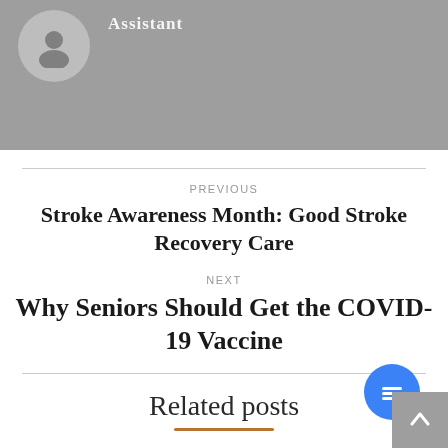[Figure (photo): Gray banner with a circular avatar/profile placeholder icon on the left and the word 'Assistant' in light text at the top center]
PREVIOUS
Stroke Awareness Month: Good Stroke Recovery Care
NEXT
Why Seniors Should Get the COVID-19 Vaccine
Related posts